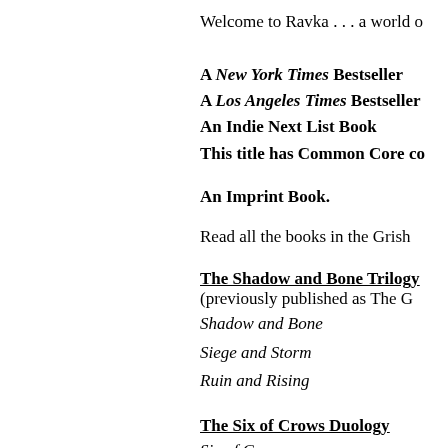Welcome to Ravka . . . a world o
A New York Times Bestseller
A Los Angeles Times Bestseller
An Indie Next List Book
This title has Common Core co
An Imprint Book.
Read all the books in the Grish
The Shadow and Bone Trilogy
(previously published as The G
Shadow and Bone
Siege and Storm
Ruin and Rising
The Six of Crows Duology
Six of Crows
Crooked Kingdom